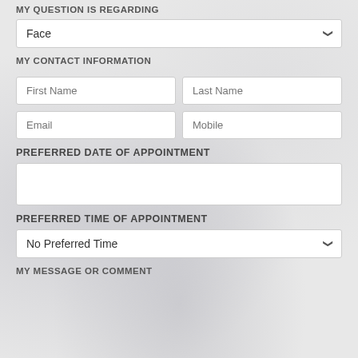MY QUESTION IS REGARDING
Face
MY CONTACT INFORMATION
First Name
Last Name
Email
Mobile
Preferred Date of Appointment
Preferred Time of Appointment
No Preferred Time
MY MESSAGE OR COMMENT